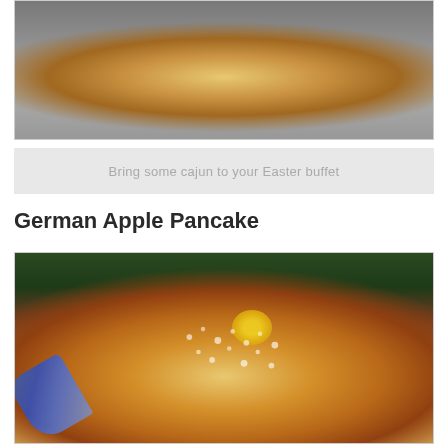[Figure (photo): A white casserole dish containing what appears to be a cajun noodle or pasta dish, topped with herbs, placed on a wooden surface]
Bring some cajun to your Easter buffet
German Apple Pancake
[Figure (photo): A German apple pancake on a decorative floral plate, dusted with powdered sugar and garnished with a yellow flower. A blue fork is visible in the lower left. A green folded napkin is in the background on a wooden surface.]